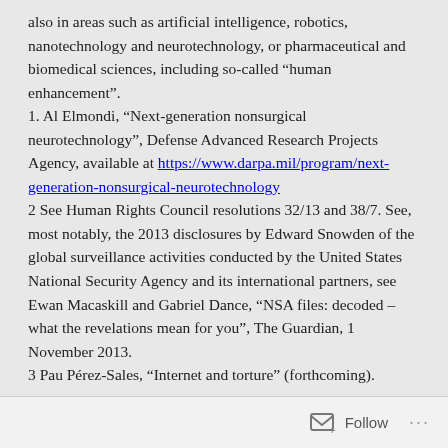also in areas such as artificial intelligence, robotics, nanotechnology and neurotechnology, or pharmaceutical and biomedical sciences, including so-called “human enhancement”.
1. Al Elmondi, “Next-generation nonsurgical neurotechnology”, Defense Advanced Research Projects Agency, available at https://www.darpa.mil/program/next-generation-nonsurgical-neurotechnology
2 See Human Rights Council resolutions 32/13 and 38/7. See, most notably, the 2013 disclosures by Edward Snowden of the global surveillance activities conducted by the United States National Security Agency and its international partners, see Ewan Macaskill and Gabriel Dance, “NSA files: decoded – what the revelations mean for you”, The Guardian, 1 November 2013.
3 Pau Pérez-Sales, “Internet and torture” (forthcoming).
Follow ...